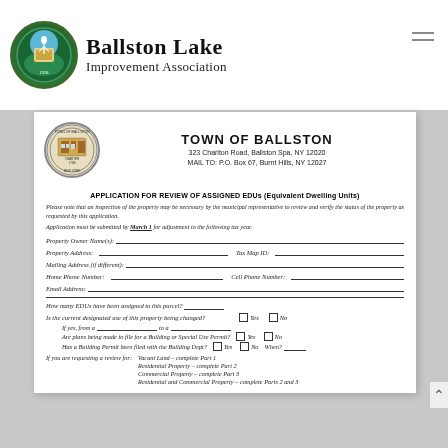[Figure (logo): Ballston Lake Improvement Association logo with heron and circular blue/green design]
Ballston Lake Improvement Association
[Figure (logo): Town of Ballston official seal]
TOWN OF BALLSTON
323 Charlton Road, Ballston Spa, NY 12020
MAIL TO: P.O. Box 67, Burnt Hills, NY 12027
APPLICATION FOR REVIEW OF ASSIGNED EDUs (Equivalent Dwelling Units)
Please note that an inspection of the property may be necessary by the municipal representative to review and verify the status of the property as requested by this application.
Application must be submitted by March 1 for adjustment to the following tax year.
Property Owner Name(s):
Property Address:   Tax Map ID:
Mailing Address (if different):
Home Phone Number:   Cell Phone Number:
Email Address:
How many EDUs have been assigned to this parcel?
Is the current designated use of this property being changed?  Yes  No
If yes, from a ___ to a ___
Are plans being made to file for a Building or Special Use Permit?  Yes  No
Has a Building Permit been filed with the Building Dept?  Yes  No  When?
If you are requesting a review for:   Vacant Land – complete Part 1
Residential Property – complete Part 2
Commercial Property – complete Part 3
Residential and Commercial Property – complete Parts 2 and 3